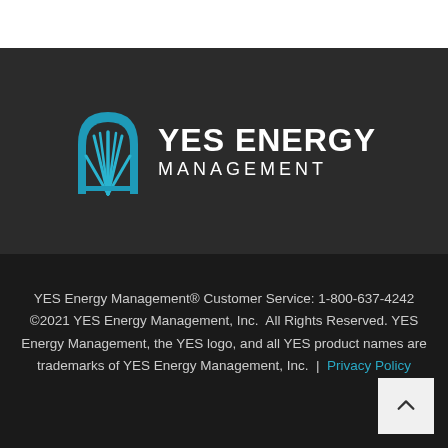[Figure (logo): YES Energy Management logo — teal stylized flame/leaf icon on dark background with company name in white bold text]
YES Energy Management® Customer Service: 1-800-637-4242 ©2021 YES Energy Management, Inc. All Rights Reserved. YES Energy Management, the YES logo, and all YES product names are trademarks of YES Energy Management, Inc. | Privacy Policy